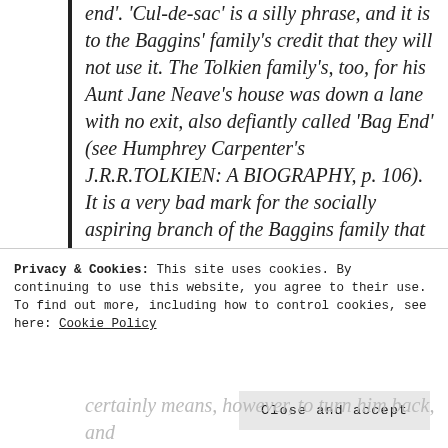end'. 'Cul-de-sac' is a silly phrase, and it is to the Baggins' family's credit that they will not use it. The Tolkien family's, too, for his Aunt Jane Neave's house was down a lane with no exit, also defiantly called 'Bag End' (see Humphrey Carpenter's J.R.R.TOLKIEN: A BIOGRAPHY, p. 106). It is a very bad mark for the socially aspiring branch of the Baggins family that they have tried to Frenchify themselves and disguise their origins: they call themselves the Sackville-Bagginses, as if they came from a VILLE (or
Privacy & Cookies: This site uses cookies. By continuing to use this website, you agree to their use.
To find out more, including how to control cookies, see here: Cookie Policy
Close and accept
certainly means, however, to turn him back, and